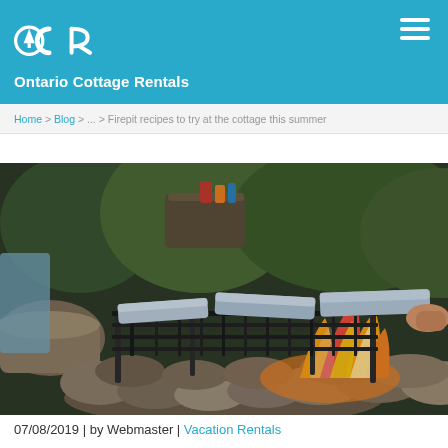OCR Ontario Cottage Rentals
Home > Blog > ... > Firepit recipes to try at the cottage this summer
[Figure (photo): Campfire with a metal grill grate over rocks, with foil-wrapped food cooking on the grate, orange flames visible, green forest background]
07/08/2019 | by Webmaster | Vacation Rentals